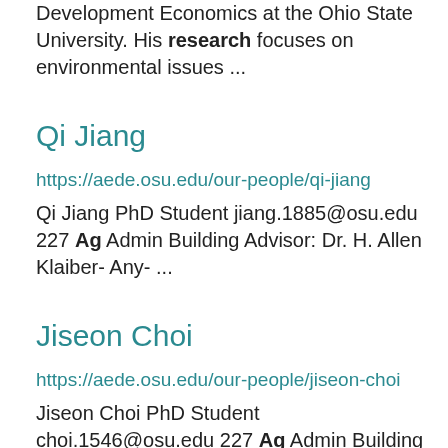Development Economics at the Ohio State University. His research focuses on environmental issues ...
Qi Jiang
https://aede.osu.edu/our-people/qi-jiang
Qi Jiang PhD Student jiang.1885@osu.edu 227 Ag Admin Building Advisor: Dr. H. Allen Klaiber- Any- ...
Jiseon Choi
https://aede.osu.edu/our-people/jiseon-choi
Jiseon Choi PhD Student choi.1546@osu.edu 227 Ag Admin Building 2120 Fyffe Road Advisor: Dr. H.